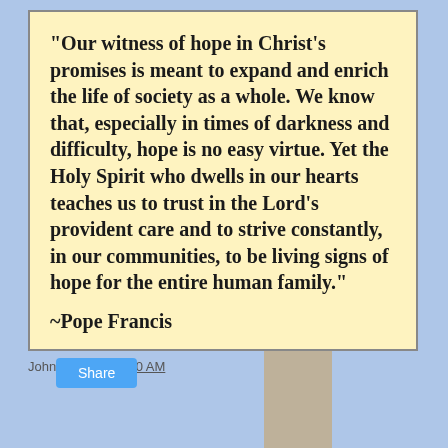[Figure (illustration): Quote card with a cross watermark design in golden/amber tones on a light yellow background. The cross is formed by overlapping vertical and horizontal amber-colored bands.]
"Our witness of hope in Christ's promises is meant to expand and enrich the life of society as a whole. We know that, especially in times of darkness and difficulty, hope is no easy virtue. Yet the Holy Spirit who dwells in our hearts teaches us to trust in the Lord's provident care and to strive constantly, in our communities, to be living signs of hope for the entire human family."
~Pope Francis
John Janaro at 1:00 AM
Share